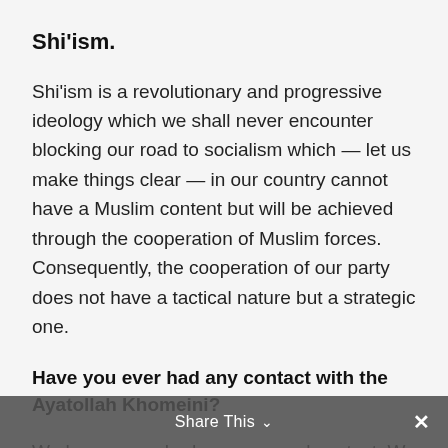Shi'ism.
Shi'ism is a revolutionary and progressive ideology which we shall never encounter blocking our road to socialism which — let us make things clear — in our country cannot have a Muslim content but will be achieved through the cooperation of Muslim forces. Consequently, the cooperation of our party does not have a tactical nature but a strategic one.
Have you ever had any contact with the Ayatollah Khomeini?
We have never had any personal contact. We did, however, have contact with his aides. The
Share This ∨  ✕